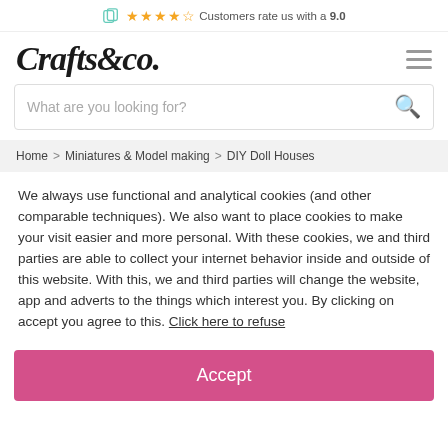Customers rate us with a 9.0
Crafts&co.
What are you looking for?
Home > Miniatures & Model making > DIY Doll Houses
We always use functional and analytical cookies (and other comparable techniques). We also want to place cookies to make your visit easier and more personal. With these cookies, we and third parties are able to collect your internet behavior inside and outside of this website. With this, we and third parties will change the website, app and adverts to the things which interest you. By clicking on accept you agree to this. Click here to refuse
Accept